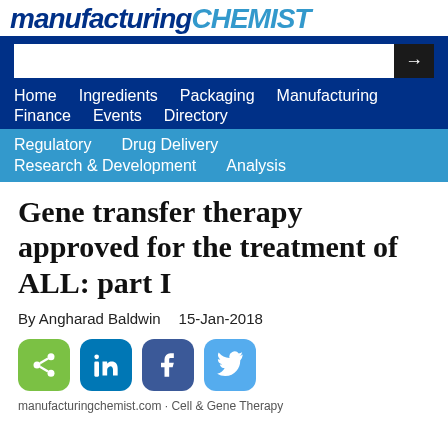manufacturingCHEMIST
Home  Ingredients  Packaging  Manufacturing  Finance  Events  Directory
Regulatory  Drug Delivery  Research & Development  Analysis
Gene transfer therapy approved for the treatment of ALL: part I
By Angharad Baldwin    15-Jan-2018
[Figure (other): Social share buttons: share (green), LinkedIn (blue), Facebook (dark blue), Twitter (light blue)]
manufacturingchemist.com · Cell & Gene Therapy